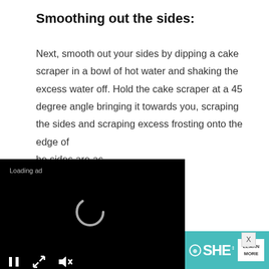Smoothing out the sides:
Next, smooth out your sides by dipping a cake scraper in a bowl of hot water and shaking the excess water off. Hold the cake scraper at a 45 degree angle bringing it towards you, scraping the sides and scraping excess frosting onto the edge of [the sides are as ...tend that I'm an ...many cakes and yet I
[Figure (screenshot): Video player overlay with black background showing 'Loading ad' text, a spinning loading circle, and video controls (pause, expand, mute) at the bottom left.]
[Figure (infographic): Bottom advertisement banner for SHE Media Partner Network with text 'Earning site & social revenue', SHE logo, and 'LEARN MORE' button on teal/green background.]